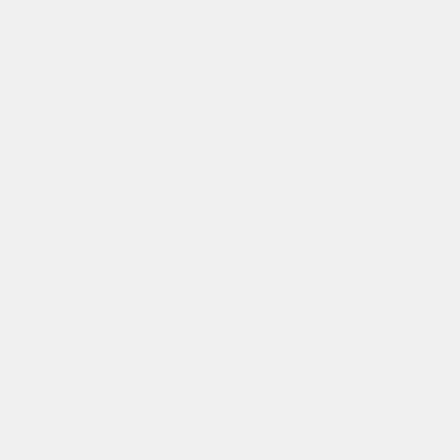|- style="background-color: #cccccc; border:1px solid #c9c9c9;"
|- style="background-color: #f0f0f0; border:1px solid #c9c9c9;"
! Name !! Institute/Laboratory !! Role
| Pierre Neyron
|- {{Template:Public contact CP2|Eric Horlait|Inria|President, with Luc Saccavini as Deputy|}}
| IR CNRS at LIG
|- {{Template:Public contact